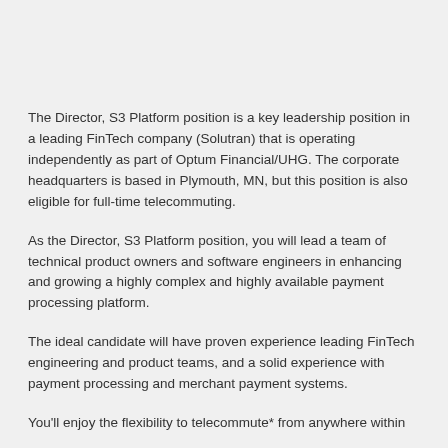The Director, S3 Platform position is a key leadership position in a leading FinTech company (Solutran) that is operating independently as part of Optum Financial/UHG. The corporate headquarters is based in Plymouth, MN, but this position is also eligible for full-time telecommuting.
As the Director, S3 Platform position, you will lead a team of technical product owners and software engineers in enhancing and growing a highly complex and highly available payment processing platform.
The ideal candidate will have proven experience leading FinTech engineering and product teams, and a solid experience with payment processing and merchant payment systems.
You'll enjoy the flexibility to telecommute* from anywhere within...